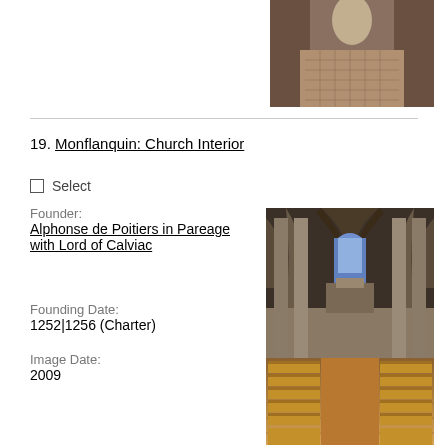[Figure (photo): Cobblestone corridor/tunnel interior, top portion of image visible]
19. Monflanquin: Church Interior
Select
Founder:
Alphonse de Poitiers in Pareage with Lord of Calviac
Founding Date:
1252|1256 (Charter)
Image Date:
2009
[Figure (photo): Interior of Monflanquin church showing Gothic arched nave with wooden pews and stained glass window at the end]